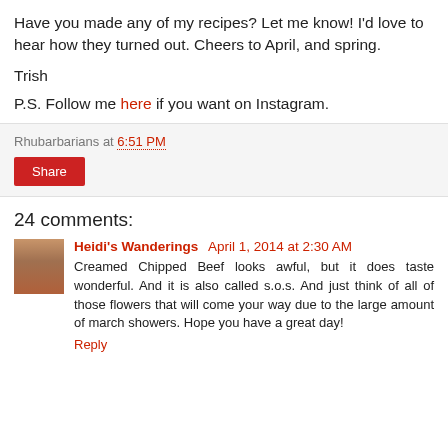Have you made any of my recipes? Let me know! I'd love to hear how they turned out. Cheers to April, and spring.
Trish
P.S. Follow me here if you want on Instagram.
Rhubarbarians at 6:51 PM
Share
24 comments:
Heidi's Wanderings  April 1, 2014 at 2:30 AM
Creamed Chipped Beef looks awful, but it does taste wonderful. And it is also called s.o.s. And just think of all of those flowers that will come your way due to the large amount of march showers. Hope you have a great day!
Reply